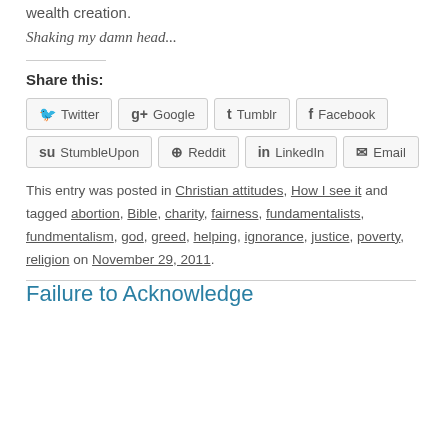wealth creation.
Shaking my damn head...
Share this:
Twitter | Google | Tumblr | Facebook | StumbleUpon | Reddit | LinkedIn | Email
This entry was posted in Christian attitudes, How I see it and tagged abortion, Bible, charity, fairness, fundamentalists, fundmentalism, god, greed, helping, ignorance, justice, poverty, religion on November 29, 2011.
Failure to Acknowledge